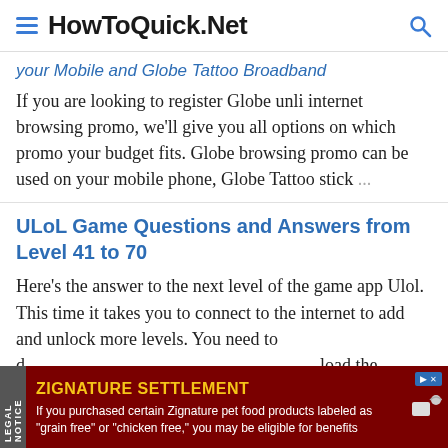HowToQuick.Net
your Mobile and Globe Tattoo Broadband
If you are looking to register Globe unli internet browsing promo, we'll give you all options on which promo your budget fits. Globe browsing promo can be used on your mobile phone, Globe Tattoo stick ...
ULoL Game Questions and Answers from Level 41 to 70
Here's the answer to the next level of the game app Ulol. This time it takes you to connect to the internet to add and unlock more levels. You need to download the additional game package to contin ...
ZIGNATURE SETTLEMENT
If you purchased certain Zignature pet food products labeled as "grain free" or "chicken free," you may be eligible for benefits